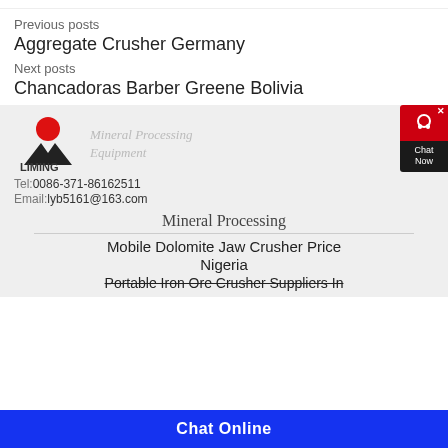Previous posts
Aggregate Crusher Germany
Next posts
Chancadoras Barber Greene Bolivia
[Figure (logo): Liming company logo with red circle, black mountain/triangle shapes, and text 'LIMING' below with 'Mineral Processing Equipment' to the right]
Tel:0086-371-86162511
Email:lyb5161@163.com
Mineral Processing
Mobile Dolomite Jaw Crusher Price Nigeria
Portable Iron Ore Crusher Suppliers In
Chat Online